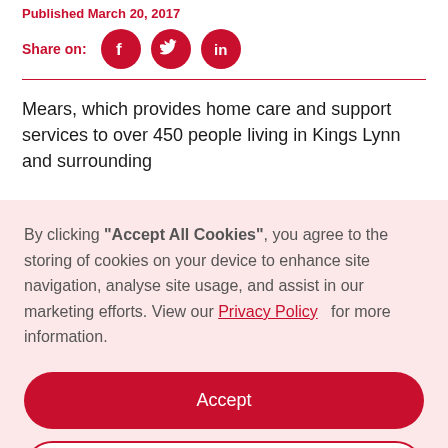Published March 20, 2017
Share on: [Facebook] [Twitter] [LinkedIn]
Mears, which provides home care and support services to over 450 people living in Kings Lynn and surrounding
By clicking "Accept All Cookies", you agree to the storing of cookies on your device to enhance site navigation, analyse site usage, and assist in our marketing efforts. View our Privacy Policy for more information.
Accept
Deny
Preferences